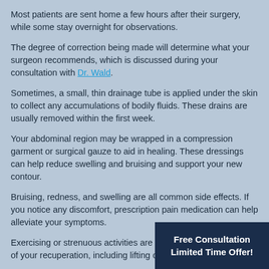Most patients are sent home a few hours after their surgery, while some stay overnight for observations.
The degree of correction being made will determine what your surgeon recommends, which is discussed during your consultation with Dr. Wald.
Sometimes, a small, thin drainage tube is applied under the skin to collect any accumulations of bodily fluids. These drains are usually removed within the first week.
Your abdominal region may be wrapped in a compression garment or surgical gauze to aid in healing. These dressings can help reduce swelling and bruising and support your new contour.
Bruising, redness, and swelling are all common side effects. If you notice any discomfort, prescription pain medication can help alleviate your symptoms.
Exercising or strenuous activities are forbidden for the first week of your recuperation, including lifting or carrying anything heavy.
You may be cleared to stand up and [partially visible] home during this time after the first d[ay]
Free Consultation
Limited Time Offer!